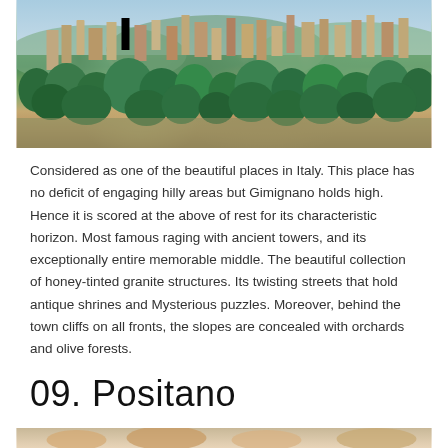[Figure (photo): Aerial/panoramic view of San Gimignano, Italy, showing medieval towers and stone buildings nestled among dense green trees on a hilltop, with blue sky above.]
Considered as one of the beautiful places in Italy. This place has no deficit of engaging hilly areas but Gimignano holds high. Hence it is scored at the above of rest for its characteristic horizon. Most famous raging with ancient towers, and its exceptionally entire memorable middle. The beautiful collection of honey-tinted granite structures. Its twisting streets that hold antique shrines and Mysterious puzzles. Moreover, behind the town cliffs on all fronts, the slopes are concealed with orchards and olive forests.
09. Positano
[Figure (photo): Partial view of Positano, Italy, showing colorful buildings on cliffs overlooking the sea.]